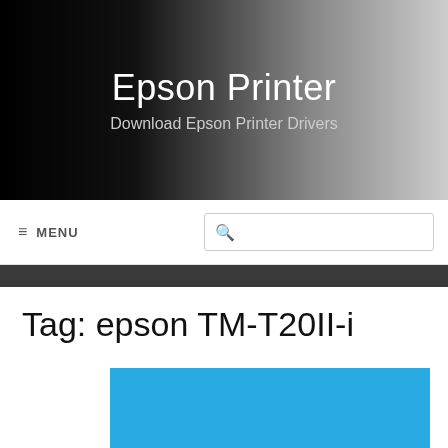Epson Printer
Download Epson Printer Drivers
≡  MENU
Tag: epson TM-T20II-i
[Figure (photo): Blue rectangle image placeholder for Epson TM-T20II-i content]